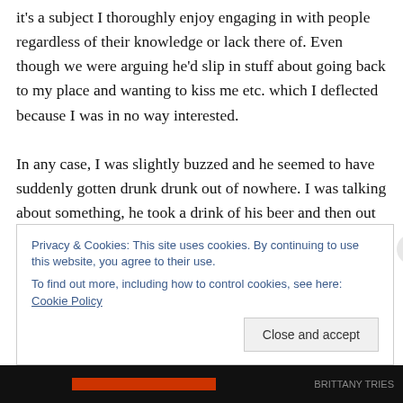it's a subject I thoroughly enjoy engaging in with people regardless of their knowledge or lack there of. Even though we were arguing he'd slip in stuff about going back to my place and wanting to kiss me etc. which I deflected because I was in no way interested.

In any case, I was slightly buzzed and he seemed to have suddenly gotten drunk drunk out of nowhere. I was talking about something, he took a drink of his beer and then out of nowhere spit it up all over me, like the beer projectiled across the table spraying me all across the front of my body. I stared at him in shock for a moment. Then I stared
Privacy & Cookies: This site uses cookies. By continuing to use this website, you agree to their use.
To find out more, including how to control cookies, see here: Cookie Policy
Close and accept